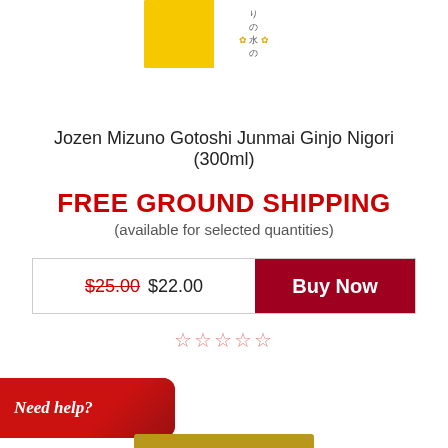[Figure (photo): Product image of Jozen Mizuno Gotoshi Junmai Ginjo Nigori sake bottle/package, yellow and white design with Japanese characters]
Jozen Mizuno Gotoshi Junmai Ginjo Nigori (300ml)
FREE GROUND SHIPPING
(available for selected quantities)
| Price | Action |
| --- | --- |
| $25.00 $22.00 | Buy Now |
★★★★★ (rating stars)
[Figure (illustration): Red 'Need help?' banner/ribbon graphic with white italic text]
[Figure (illustration): Bottom brown/gold bar partially visible]